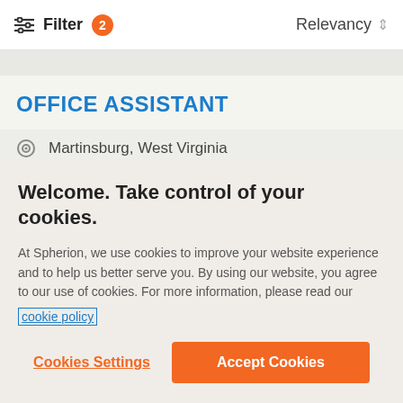Filter 2  Relevancy
OFFICE ASSISTANT
Martinsburg, West Virginia
Welcome. Take control of your cookies.
At Spherion, we use cookies to improve your website experience and to help us better serve you. By using our website, you agree to our use of cookies. For more information, please read our cookie policy
Cookies Settings
Accept Cookies